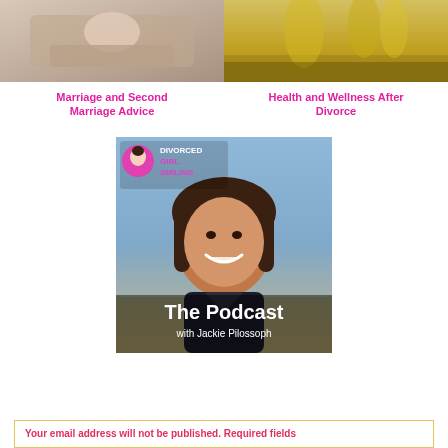[Figure (photo): Two photos side by side at top: left shows a couple in bed (marriage/bedroom scene), right shows a woman in a golden wheat field]
Marriage and Second Marriage Advice
Health and Wellness After Divorce
[Figure (photo): Divorced Girl Smiling podcast cover image featuring Jackie Pilossoph, a woman with brown hair smiling, with logo and text 'The Podcast with Jackie Pilossoph']
Your email address will not be published. Required fields